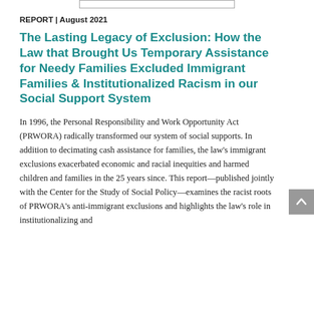REPORT | August 2021
The Lasting Legacy of Exclusion: How the Law that Brought Us Temporary Assistance for Needy Families Excluded Immigrant Families & Institutionalized Racism in our Social Support System
In 1996, the Personal Responsibility and Work Opportunity Act (PRWORA) radically transformed our system of social supports. In addition to decimating cash assistance for families, the law's immigrant exclusions exacerbated economic and racial inequities and harmed children and families in the 25 years since. This report—published jointly with the Center for the Study of Social Policy—examines the racist roots of PRWORA's anti-immigrant exclusions and highlights the law's role in institutionalizing and